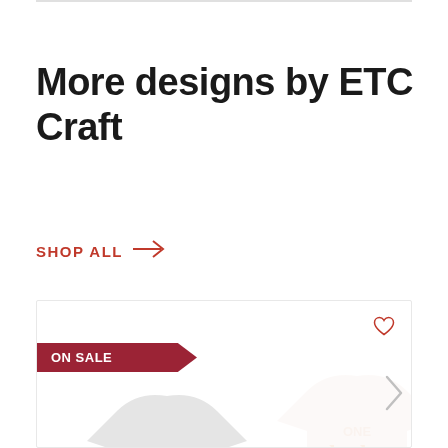More designs by ETC Craft
SHOP ALL →
[Figure (photo): Product card showing two t-shirt designs with 'One Lucky Mama' text. Has an ON SALE badge in dark red, a heart/wishlist icon, and a right chevron navigation arrow.]